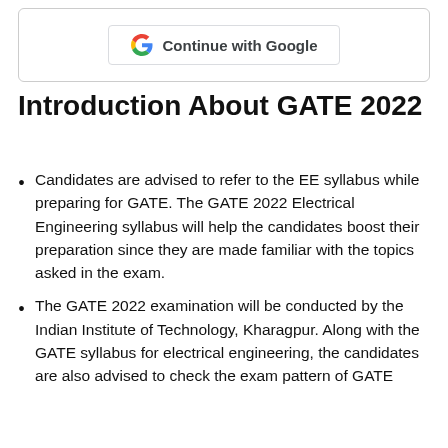[Figure (logo): Google 'Continue with Google' button inside a rounded rectangle border]
Introduction About GATE 2022
Candidates are advised to refer to the EE syllabus while preparing for GATE. The GATE 2022 Electrical Engineering syllabus will help the candidates boost their preparation since they are made familiar with the topics asked in the exam.
The GATE 2022 examination will be conducted by the Indian Institute of Technology, Kharagpur. Along with the GATE syllabus for electrical engineering, the candidates are also advised to check the exam pattern of GATE